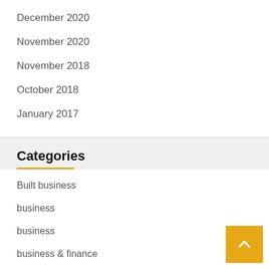December 2020
November 2020
November 2018
October 2018
January 2017
Categories
Built business
business
business
business & finance
finance